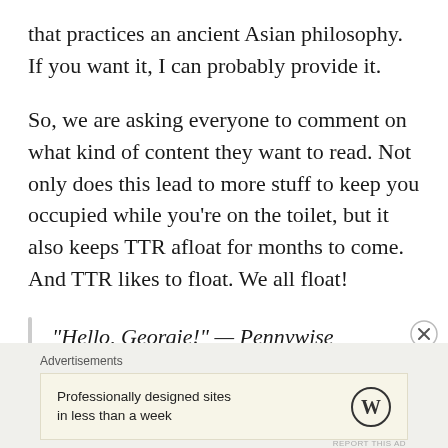that practices an ancient Asian philosophy. If you want it, I can probably provide it.
So, we are asking everyone to comment on what kind of content they want to read. Not only does this lead to more stuff to keep you occupied while you’re on the toilet, but it also keeps TTR afloat for months to come. And TTR likes to float. We all float!
“Hello, Georgie!” — Pennywise
Advertisements
Professionally designed sites in less than a week